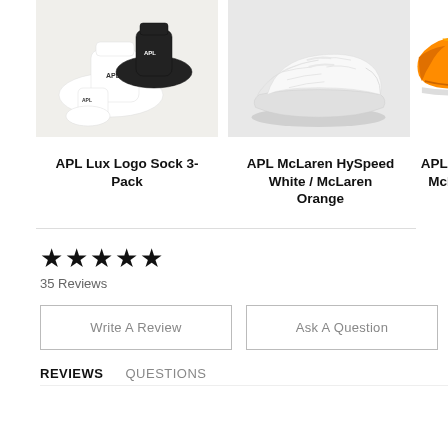[Figure (photo): APL Lux Logo Sock 3-Pack product photo showing white and black ankle socks with APL logo on a white fluffy background]
APL Lux Logo Sock 3-Pack
[Figure (photo): APL McLaren HySpeed sneaker in white on light gray background]
APL McLaren HySpeed White / McLaren Orange
[Figure (photo): APL McLaren sneaker in orange, partially cropped at right edge]
APL M... McLaren
★★★★★
35 Reviews
Write A Review
Ask A Question
REVIEWS   QUESTIONS